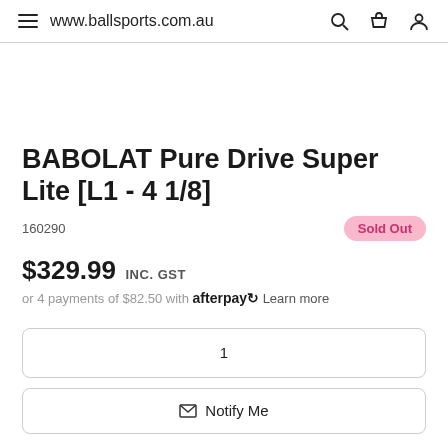www.ballsports.com.au
BABOLAT Pure Drive Super Lite [L1 - 4 1/8]
160290
Sold Out
$329.99 INC. GST
or 4 payments of $82.50 with afterpay Learn more
1
Notify Me